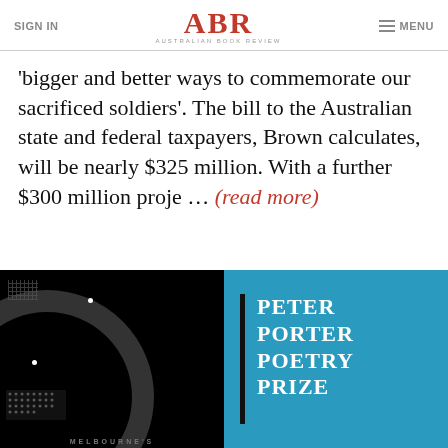SIGN IN | ABR Australian Book Review | MENU
'bigger and better ways to commemorate our sacrificed soldiers'. The bill to the Australian state and federal taxpayers, Brown calculates, will be nearly $325 million. With a further $300 million proje … (read more)
[Figure (photo): Black and white image with circular halftone/dot pattern, likely a book cover or artwork related to Melbourne]
[Figure (other): Teal/blue background with vertical black bar and white text reading PETER PORTER POETRY PRIZE]